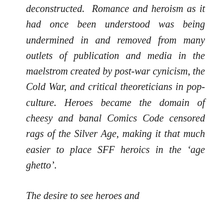deconstructed. Romance and heroism as it had once been understood was being undermined in and removed from many outlets of publication and media in the maelstrom created by post-war cynicism, the Cold War, and critical theoreticians in pop-culture. Heroes became the domain of cheesy and banal Comics Code censored rags of the Silver Age, making it that much easier to place SFF heroics in the ‘age ghetto’.
The desire to see heroes and heroism does not dissipate and